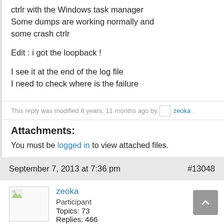ctrlr with the Windows task manager Some dumps are working normally and some crash ctrlr

Edit : i got the loopback !

I see it at the end of the log file I need to check where is the failure
This reply was modified 8 years, 11 months ago by zeoka.
Attachments:
You must be logged in to view attached files.
September 7, 2013 at 7:36 pm   #13048
zeoka
Participant
Topics: 73
Replies: 466
Total: 539